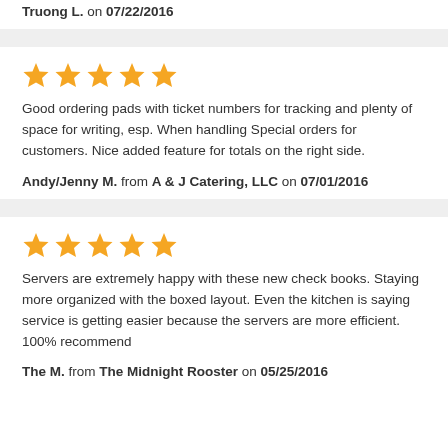Truong L. on 07/22/2016
Good ordering pads with ticket numbers for tracking and plenty of space for writing, esp. When handling Special orders for customers. Nice added feature for totals on the right side.
Andy/Jenny M. from A & J Catering, LLC on 07/01/2016
Servers are extremely happy with these new check books. Staying more organized with the boxed layout. Even the kitchen is saying service is getting easier because the servers are more efficient. 100% recommend
The M. from The Midnight Rooster on 05/25/2016